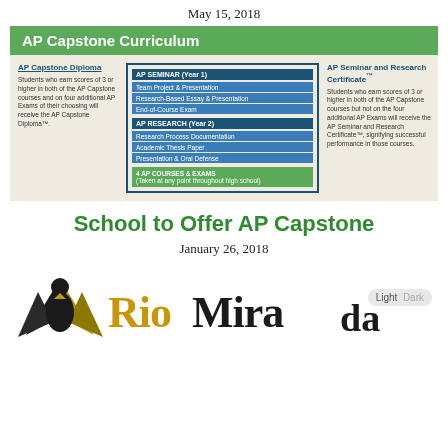May 15, 2018
[Figure (infographic): AP Capstone Curriculum infographic showing AP Seminar (Year 1) and AP Research (Year 2) courses, AP Capstone Diploma requirements, AP Seminar and Research Certificate requirements, and 4 AP Courses & Exams taken throughout high school.]
School to Offer AP Capstone
January 26, 2018
[Figure (logo): Rio Miranda school logo with eagle/bird emblem and stylized text 'Rio Miranda' in gold and black, with Light/Dark toggle button overlay]